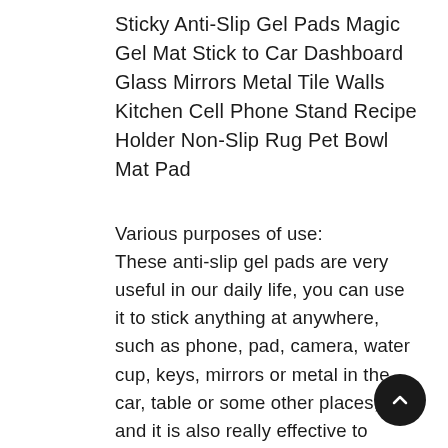Sticky Anti-Slip Gel Pads Magic Gel Mat Stick to Car Dashboard Glass Mirrors Metal Tile Walls Kitchen Cell Phone Stand Recipe Holder Non-Slip Rug Pet Bowl Mat Pad
Various purposes of use:
These anti-slip gel pads are very useful in our daily life, you can use it to stick anything at anywhere, such as phone, pad, camera, water cup, keys, mirrors or metal in the car, table or some other places, and it is also really effective to remove the pet hair, dust on clothing and computers.